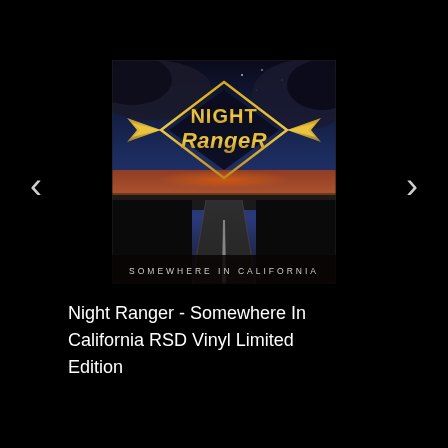[Figure (photo): Album cover for Night Ranger 'Somewhere In California'. Features the Night Ranger logo in gold metallic lettering in a diamond/shield shape with wings, set against a dramatic sunset sky with dark storm clouds. A long straight highway stretches into the horizon. At the bottom of the cover text reads 'SOMEWHERE IN CALIFORNIA' in white spaced letters.]
Night Ranger - Somewhere In California RSD Vinyl Limited Edition